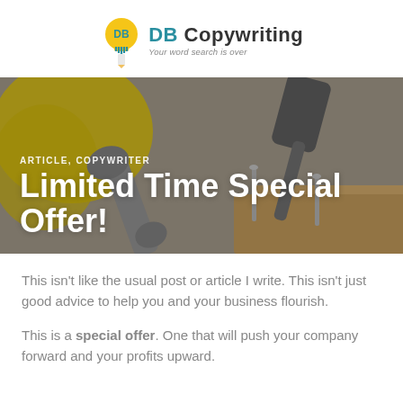[Figure (logo): DB Copywriting logo: lightbulb icon with 'DB' text inside, plus logotype 'DB Copywriting' and tagline 'Your word search is over']
[Figure (photo): Banner photo of tools: wrench, hammer, and nails on a wooden surface with yellow background element, overlaid with text 'ARTICLE, COPYWRITER' and title 'Limited Time Special Offer!']
This isn't like the usual post or article I write. This isn't just good advice to help you and your business flourish.
This is a special offer. One that will push your company forward and your profits upward.